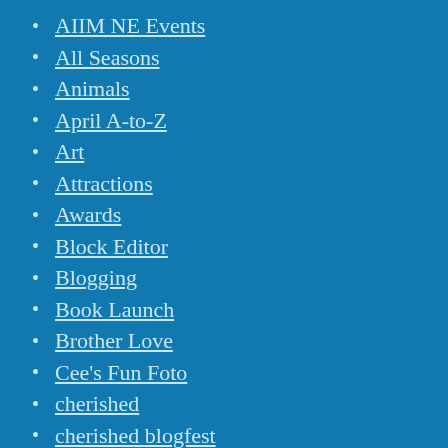AIIM NE Events
All Seasons
Animals
April A-to-Z
Art
Attractions
Awards
Block Editor
Blogging
Book Launch
Brother Love
Cee's Fun Foto
cherished
cherished blogfest
Connecticut
Corona Virus
Current Events